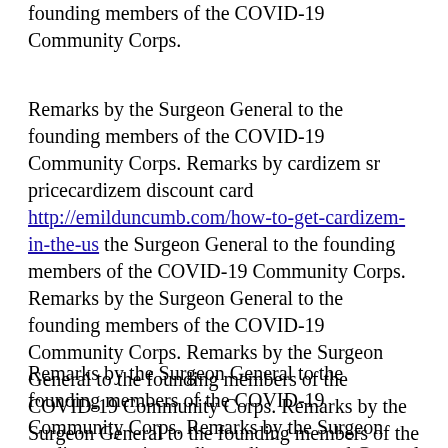founding members of the COVID-19 Community Corps.
Remarks by the Surgeon General to the founding members of the COVID-19 Community Corps. Remarks by cardizem sr pricecardizem discount card http://emilduncumb.com/how-to-get-cardizem-in-the-us the Surgeon General to the founding members of the COVID-19 Community Corps. Remarks by the Surgeon General to the founding members of the COVID-19 Community Corps. Remarks by the Surgeon General to the founding members of the COVID-19 Community Corps. Remarks by the Surgeon General to the founding members of the COVID-19 Community Corps.
Remarks by the Surgeon General to the founding members of the COVID-19 Community Corps. Remarks by the Surgeon cardizem sr pricecardizem discount card General to the founding members of the